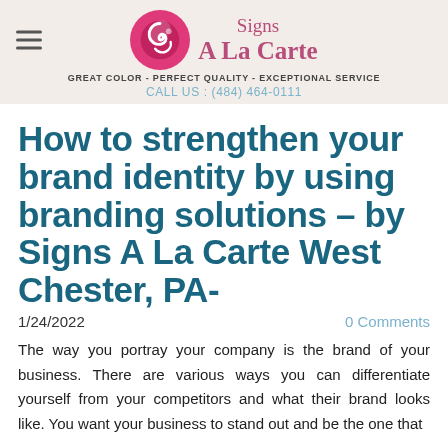Signs A La Carte | GREAT COLOR - PERFECT QUALITY - EXCEPTIONAL SERVICE | CALL US : (484) 464-0111
How to strengthen your brand identity by using branding solutions – by Signs A La Carte West Chester, PA-
1/24/2022   0 Comments
The way you portray your company is the brand of your business. There are various ways you can differentiate yourself from your competitors and what their brand looks like. You want your business to stand out and be the one that